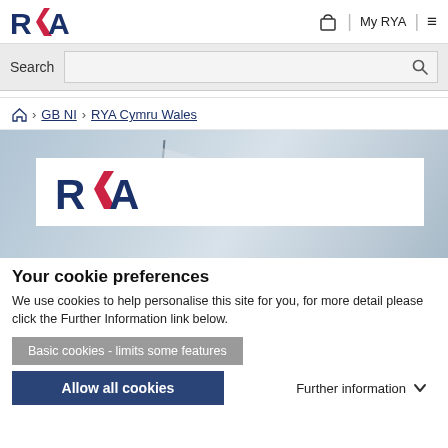RYA | My RYA | ≡
Search
⌂ > GB NI > RYA Cymru Wales
[Figure (logo): RYA logo displayed in white box over hero background image]
Your cookie preferences
We use cookies to help personalise this site for you, for more detail please click the Further Information link below.
Basic cookies - limits some features
Allow all cookies
Further information ∨